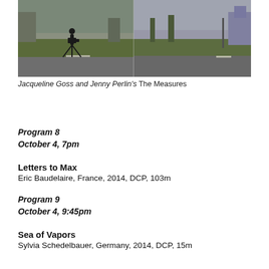[Figure (photo): Two-panel photograph showing a silhouetted figure with a camera on a tripod at a roadside on the left, and a road with green grass verge on the right.]
Jacqueline Goss and Jenny Perlin's The Measures
Program 8
October 4, 7pm
Letters to Max
Eric Baudelaire, France, 2014, DCP, 103m
Program 9
October 4, 9:45pm
Sea of Vapors
Sylvia Schedelbauer, Germany, 2014, DCP, 15m